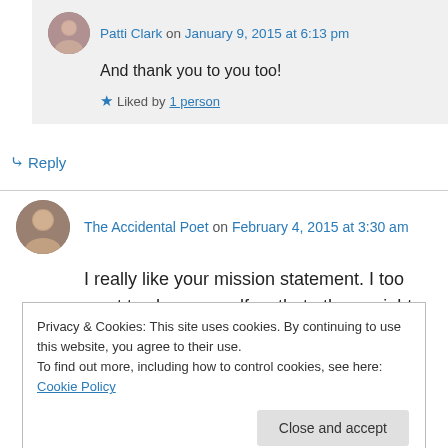Patti Clark on January 9, 2015 at 6:13 pm
And thank you to you too!
Liked by 1 person
Reply
The Accidental Poet on February 4, 2015 at 3:30 am
I really like your mission statement. I too want to share myself so that others might know what
Privacy & Cookies: This site uses cookies. By continuing to use this website, you agree to their use.
To find out more, including how to control cookies, see here: Cookie Policy
Close and accept
expect to find religious dogma here. Instead